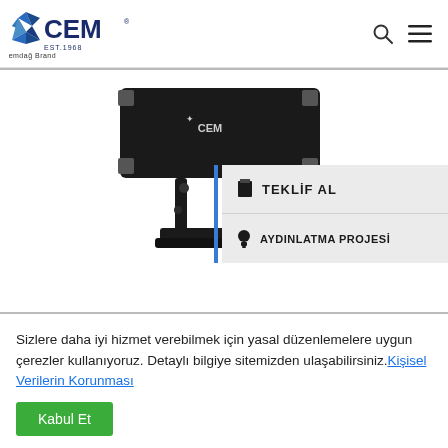[Figure (logo): CEM brand logo with blue geometric star shape and EST.1968 text, subtitle 'A Cemdağ Brand']
[Figure (photo): Black CEM branded outdoor LED floodlight/spotlight mounted on bracket, with 'TEKLİF AL' and 'AYDINLATMA PROJESİ' button overlays on the right]
Sizlere daha iyi hizmet verebilmek için yasal düzenlemelere uygun çerezler kullanıyoruz. Detaylı bilgiye sitemizden ulaşabilirsiniz. Kişisel Verilerin Korunması
Kabul Et